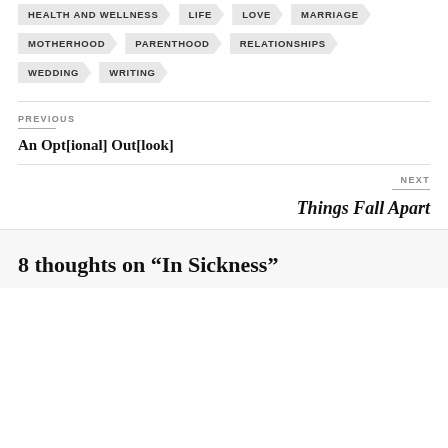HEALTH AND WELLNESS
LIFE
LOVE
MARRIAGE
MOTHERHOOD
PARENTHOOD
RELATIONSHIPS
WEDDING
WRITING
PREVIOUS
An Opt[ional] Out[look]
NEXT
Things Fall Apart
8 thoughts on “In Sickness”